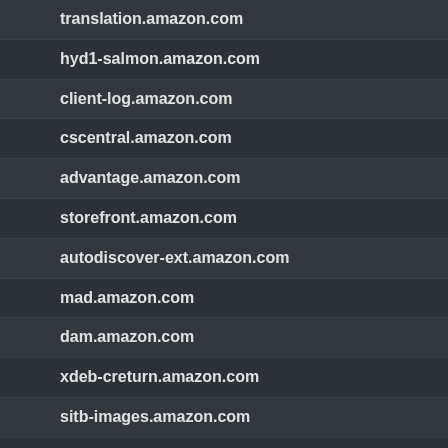translation.amazon.com
hyd1-salmon.amazon.com
client-log.amazon.com
cscentral.amazon.com
advantage.amazon.com
storefront.amazon.com
autodiscover-ext.amazon.com
mad.amazon.com
dam.amazon.com
xdeb-creturn.amazon.com
sitb-images.amazon.com
catalog-fe.amazon.com
isapca.amazon.com
c2c-fe.amazon.com
https-inbound-eu.amazon.com